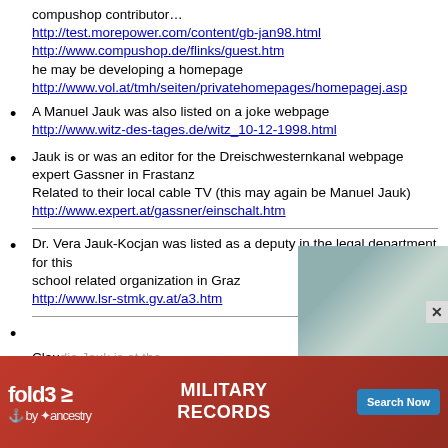compushop contributor… http://test.morepower.com/content/gb-jan98.html http://www.compushop.de/flinks/guest.htm he may be developing a homepage http://www.vol.at/tmh/seiten/privatehomepages/homepagej.asp
A Manuel Jauk was also listed on a joke webpage http://www.witz-des-tages.de/witz_10-12-1998.html
Jauk is or was an editor for the Dreischwesternkanal webpage expert Gassner in Frastanz Related to their local cable TV (this may again be Manuel Jauk) http://www.expert.at/gassner/einschalt.htm
Dr. Vera Jauk-Kocjan was listed as a deputy in the legal department for this school related organization in Graz http://www.lsr-stmk.gv.at/a3.htm
Claudia Jauk is at the Technical... St. ...
[Figure (photo): Partially visible photograph obscured by advertisement overlay]